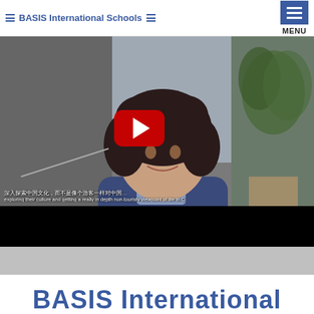≡ BASIS International Schools ≡  MENU
[Figure (screenshot): Video thumbnail showing a woman with curly dark hair wearing a navy blue top, seated in front of a bright office or school interior. A YouTube-style red play button is overlaid in the center. Subtitles visible: Chinese text '深入探索中国文化，而不是像个游客一样对中国…' and English text 'exploring their culture and getting a really in depth non-touristy viewpoint of life in C'. A black bar appears at the bottom of the video.]
BASIS International